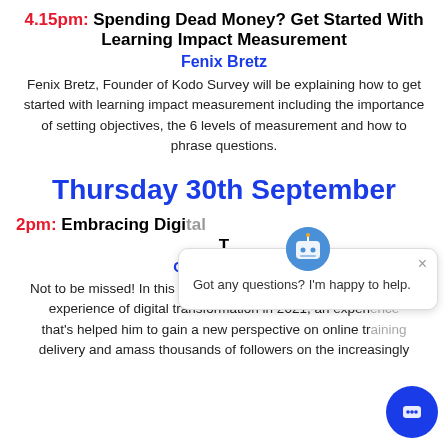4.15pm: Spending Dead Money? Get Started With Learning Impact Measurement
Fenix Bretz
Fenix Bretz, Founder of Kodo Survey will be explaining how to get started with learning impact measurement including the importance of setting objectives, the 6 levels of measurement and how to phrase questions.
Thursday 30th September
2pm: Embracing Digital Transformation
Graham David
Not to be missed! In this lively session, Graham David shares his experience of digital transformation in 2021, an experience that's helped him to gain a new perspective on online training delivery and amass thousands of followers on the increasingly
[Figure (screenshot): Chat popup widget showing a chatbot icon and the message 'Got any questions? I'm happy to help.' with a close button, and a blue circular chat button in the bottom right corner.]